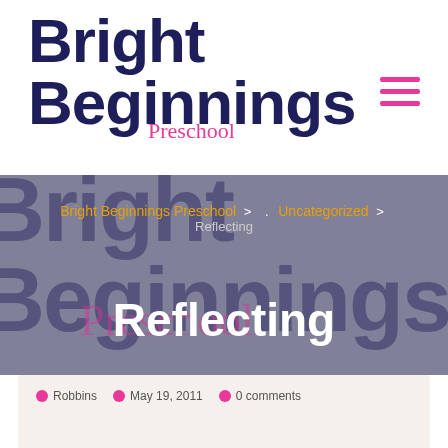Bright Beginnings Preschool
[Figure (logo): Bright Beginnings Preschool logo with large dark navy bold text and pink cursive 'Preschool' subtitle, and pink hamburger menu icon]
Bright Beginnings Preschool > . Uncategorized > Reflecting
Reflecting
By Robbins · May 19, 2011 · 0 comments